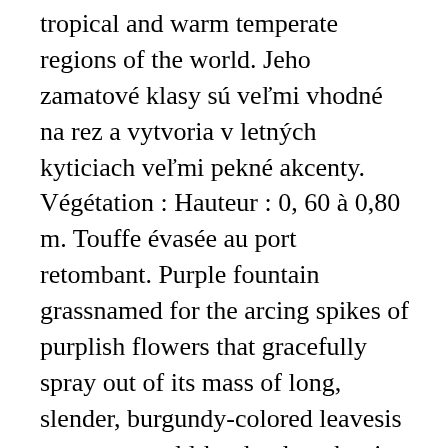tropical and warm temperate regions of the world. Jeho zamatové klasy sú veľmi vhodné na rez a vytvoria v letných kyticiach veľmi pekné akcenty. Végétation : Hauteur : 0, 60 à 0,80 m. Touffe évasée au port retombant. Purple fountain grassnamed for the arcing spikes of purplish flowers that gracefully spray out of its mass of long, slender, burgundy-colored leavesis not a very cold-hardy plant, but it is well worth growing in the northeven if you can enjoy it for only two seasons out of the year. Genus Pennisetum can be annual or perennial, evergreen or deciduous grasses, clump-forming or spreading in habit, with linear leaves and narrow flowering panicles with conspicuous bristles. Details 'Rubrum' is a